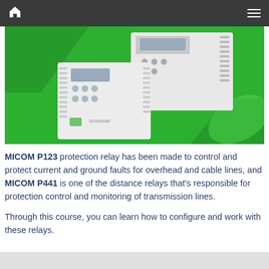Navigation bar with home icon and menu icon
[Figure (photo): Green-background product photo showing two MICOM protection relay units (P123 and P441) — one smaller square relay in the foreground and a taller panel-mount relay in the background, displayed against a bright green backdrop with darker green geometric shapes.]
MICOM P123 protection relay has been made to control and protect current and ground faults for overhead and cable lines, and MICOM P441 is one of the distance relays that's responsible for protection control and monitoring of transmission lines.
Through this course, you can learn how to configure and work with these relays.